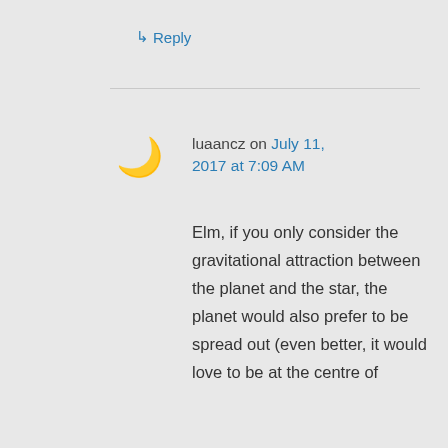↳ Reply
luaancz on July 11, 2017 at 7:09 AM
Elm, if you only consider the gravitational attraction between the planet and the star, the planet would also prefer to be spread out (even better, it would love to be at the centre of